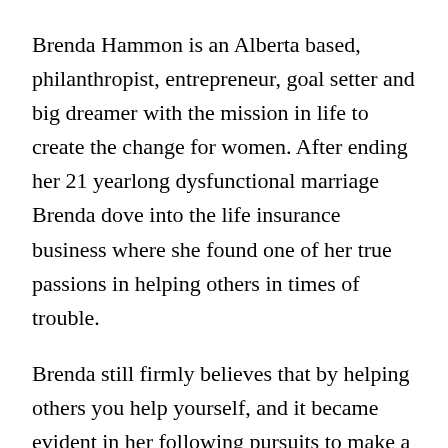Brenda Hammon is an Alberta based, philanthropist, entrepreneur, goal setter and big dreamer with the mission in life to create the change for women. After ending her 21 yearlong dysfunctional marriage Brenda dove into the life insurance business where she found one of her true passions in helping others in times of trouble.
Brenda still firmly believes that by helping others you help yourself, and it became evident in her following pursuits to make a change. She published her first book in 2015 revealing the deep dark secrets of her past